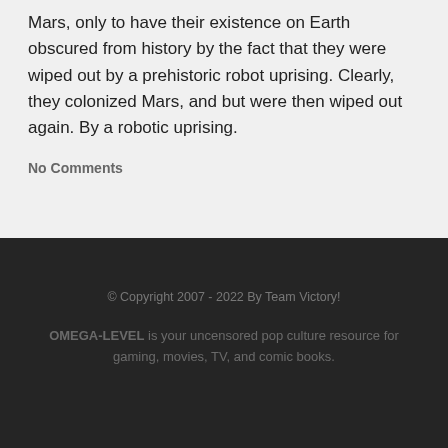Mars, only to have their existence on Earth obscured from history by the fact that they were wiped out by a prehistoric robot uprising. Clearly, they colonized Mars, and but were then wiped out again. By a robotic uprising.
No Comments
© Copyright 2007 - 2022 By Team Victory!
OMEGA-LEVEL is your uncensored pop culture resource for gaming, movies, TV, and comic books.